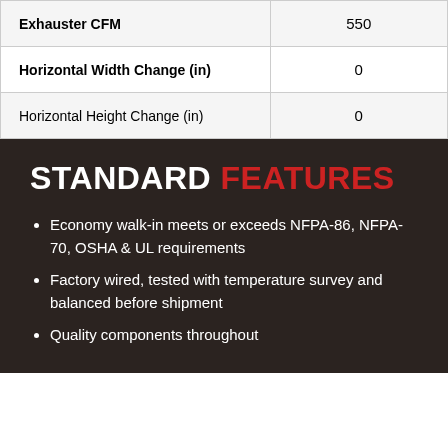| Exhauster CFM | 550 |
| Horizontal Width Change (in) | 0 |
| Horizontal Height Change (in) | 0 |
STANDARD FEATURES
Economy walk-in meets or exceeds NFPA-86, NFPA-70, OSHA & UL requirements
Factory wired, tested with temperature survey and balanced before shipment
Quality components throughout